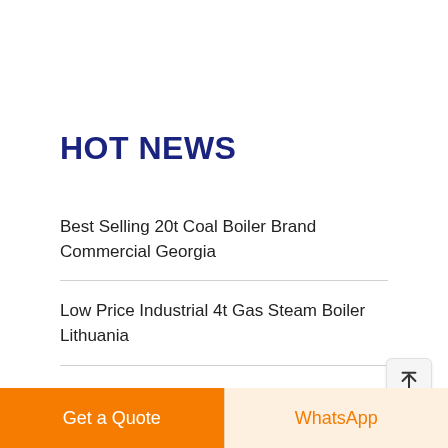HOT NEWS
Best Selling 20t Coal Boiler Brand Commercial Georgia
Low Price Industrial 4t Gas Steam Boiler Lithuania
Energy Saving Distributor 10t Coal Boiler Brand Kyrgyzstan
Low Price Atmospheric Pressure Boiler 8 Ton
Get a Quote | WhatsApp